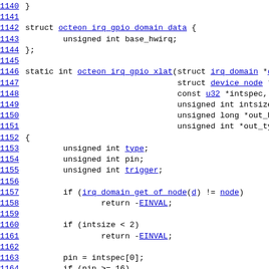[Figure (screenshot): Source code listing showing C struct and function definition for octeon_irq_gpio, lines 1140-1164, with line numbers as hyperlinks on the left and code on the right.]